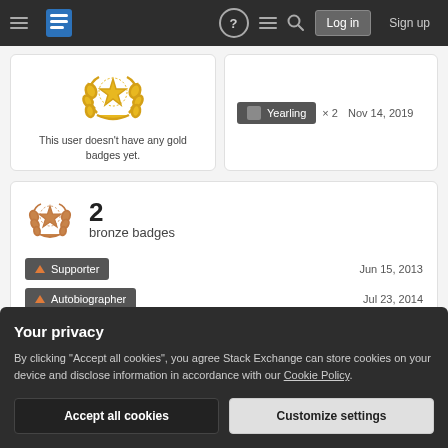Stack Exchange navigation bar with Log in and Sign up buttons
This user doesn't have any gold badges yet.
Yearling × 2   Nov 14, 2019
2 bronze badges
Supporter   Jun 15, 2013
Autobiographer   Jul 23, 2014
Your privacy
By clicking "Accept all cookies", you agree Stack Exchange can store cookies on your device and disclose information in accordance with our Cookie Policy.
Accept all cookies
Customize settings